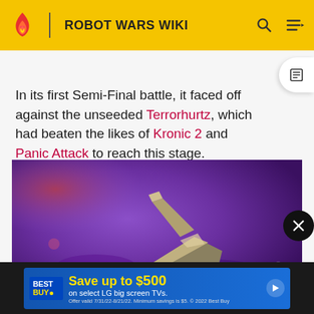ROBOT WARS WIKI
In its first Semi-Final battle, it faced off against the unseeded Terrorhurtz, which had beaten the likes of Kronic 2 and Panic Attack to reach this stage.
[Figure (screenshot): Video screenshot showing a robot combat scene with purple/blue tinted imagery; a metallic robot is visible against a purple background.]
[Figure (screenshot): Best Buy advertisement banner: 'Save up to $500 on select LG big screen TVs. Offer valid 7/31/22-8/21/22. Minimum savings is $5. © 2022 Best Buy']